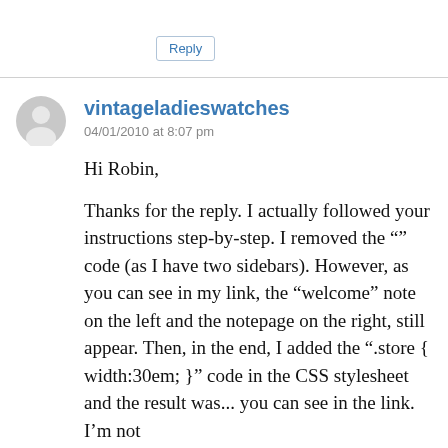Reply
vintageladieswatches
04/01/2010 at 8:07 pm
Hi Robin,

Thanks for the reply. I actually followed your instructions step-by-step. I removed the "" code (as I have two sidebars). However, as you can see in my link, the “welcome” note on the left and the notepage on the right, still appear. Then, in the end, I added the “.store { width:30em; }” code in the CSS stylesheet and the result was... you can see in the link. I’m not